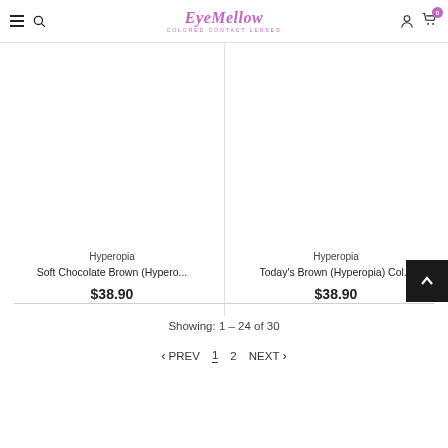EyeMellow - Colored Contact Lenses
Hyperopia
Soft Chocolate Brown (Hypero...
$38.90
Hyperopia
Today's Brown (Hyperopia) Col...
$38.90
Showing: 1 - 24 of 30
< PREV  1  2  NEXT >